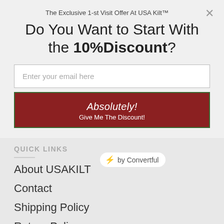The Exclusive 1-st Visit Offer At USA Kilt™
Do You Want to Start With the 10%Discount?
Enter your email here
Absolutely!
Give Me The Discount!
⚡ by Convertful
QUICK LINKS
About USAKILT
Contact
Shipping Policy
Return Policy